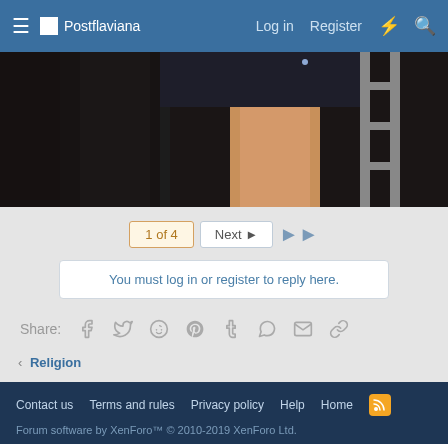≡ Postflaviana   Log in   Register
[Figure (photo): Close-up photo of two people's legs in dark clothing, one in dark tights/leggings and one with bare tanned legs in a short dark skirt, indoors at night]
1 of 4   Next ▶   ▶▶
You must log in or register to reply here.
Share: (Facebook) (Twitter) (Reddit) (Pinterest) (Tumblr) (WhatsApp) (Email) (Link)
< Religion
Contact us   Terms and rules   Privacy policy   Help   Home   [RSS]   Forum software by XenForo™ © 2010-2019 XenForo Ltd.